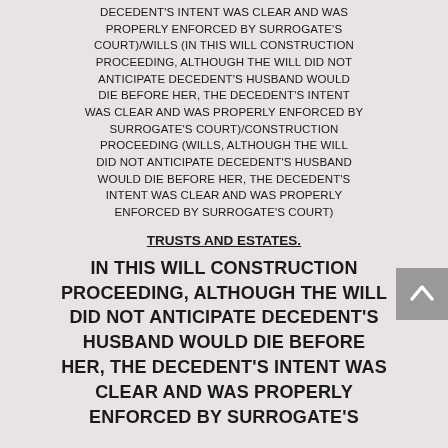DECEDENT'S INTENT WAS CLEAR AND WAS PROPERLY ENFORCED BY SURROGATE'S COURT)/WILLS (IN THIS WILL CONSTRUCTION PROCEEDING, ALTHOUGH THE WILL DID NOT ANTICIPATE DECEDENT'S HUSBAND WOULD DIE BEFORE HER, THE DECEDENT'S INTENT WAS CLEAR AND WAS PROPERLY ENFORCED BY SURROGATE'S COURT)/CONSTRUCTION PROCEEDING (WILLS, ALTHOUGH THE WILL DID NOT ANTICIPATE DECEDENT'S HUSBAND WOULD DIE BEFORE HER, THE DECEDENT'S INTENT WAS CLEAR AND WAS PROPERLY ENFORCED BY SURROGATE'S COURT)
TRUSTS AND ESTATES.
IN THIS WILL CONSTRUCTION PROCEEDING, ALTHOUGH THE WILL DID NOT ANTICIPATE DECEDENT'S HUSBAND WOULD DIE BEFORE HER, THE DECEDENT'S INTENT WAS CLEAR AND WAS PROPERLY ENFORCED BY SURROGATE'S